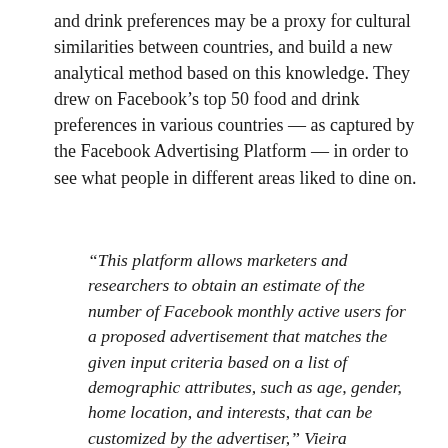and drink preferences may be a proxy for cultural similarities between countries, and build a new analytical method based on this knowledge. They drew on Facebook's top 50 food and drink preferences in various countries — as captured by the Facebook Advertising Platform — in order to see what people in different areas liked to dine on.
“This platform allows marketers and researchers to obtain an estimate of the number of Facebook monthly active users for a proposed advertisement that matches the given input criteria based on a list of demographic attributes, such as age, gender, home location, and interests, that can be customized by the advertiser,” Vieira explained for ZME Science. “Because we focus on food and drink as cultural markers, we selected the interests classified by Facebook as related to food and drink. We selected the top 50 most popular foods and drinks in each one of the sixteen countries we analyzed